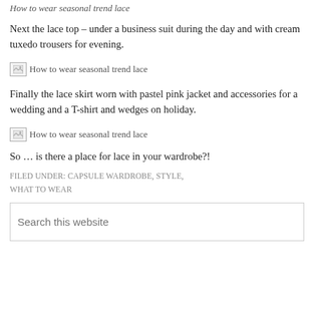How to wear seasonal trend lace
Next the lace top – under a business suit during the day and with cream tuxedo trousers for evening.
[Figure (photo): Broken image placeholder labelled 'How to wear seasonal trend lace']
Finally the lace skirt worn with pastel pink jacket and accessories for a wedding and a T-shirt and wedges on holiday.
[Figure (photo): Broken image placeholder labelled 'How to wear seasonal trend lace']
So … is there a place for lace in your wardrobe?!
FILED UNDER: CAPSULE WARDROBE, STYLE, WHAT TO WEAR